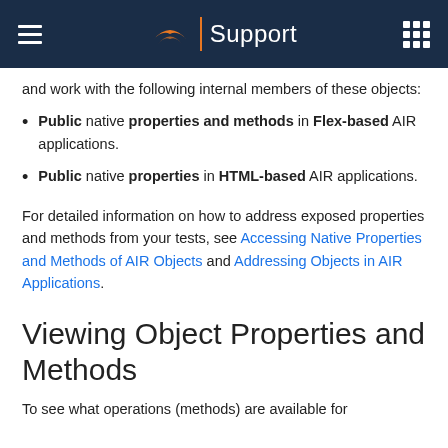Support
and work with the following internal members of these objects:
Public native properties and methods in Flex-based AIR applications.
Public native properties in HTML-based AIR applications.
For detailed information on how to address exposed properties and methods from your tests, see Accessing Native Properties and Methods of AIR Objects and Addressing Objects in AIR Applications.
Viewing Object Properties and Methods
To see what operations (methods) are available for